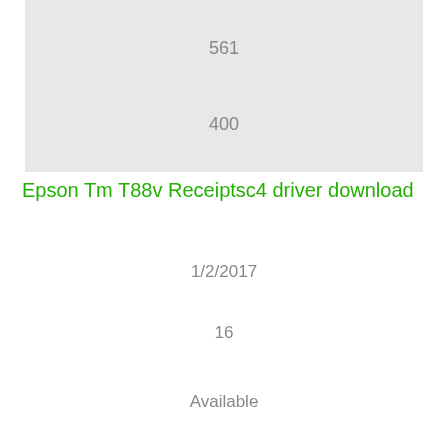[Figure (other): Gray box containing two numbers: 561 and 400]
Epson Tm T88v Receiptsc4 driver download
1/2/2017
16
Available